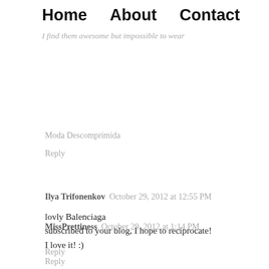Home   About   Contact
I find them awesome but impossible to wear
Moda Descomprimida
Reply
Ilya Trifonenkov   October 29, 2012 at 12:55 PM
lovly Balenciaga
subscribed to your blog, I hope to reciprocate!
Reply
MissPrettiness   October 29, 2012 at 1:14 PM
I love it! :)
Reply